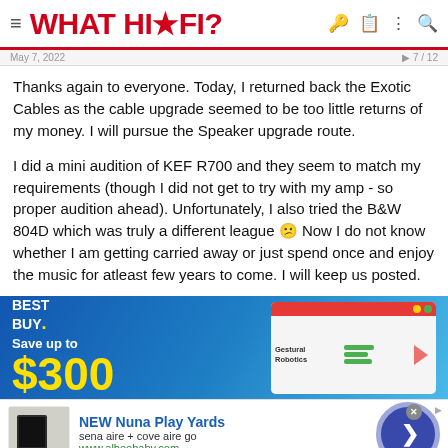WHAT HI*FI?
Thanks again to everyone. Today, I returned back the Exotic Cables as the cable upgrade seemed to be too little returns of my money. I will pursue the Speaker upgrade route.
I did a mini audition of KEF R700 and they seem to match my requirements (though I did not get to try with my amp - so proper audition ahead). Unfortunately, I also tried the B&W 804D which was truly a different league 😕 Now I do not know whether I am getting carried away or just spend once and enjoy the music for atleast few years to come. I will keep us posted.
[Figure (screenshot): Best Buy advertisement banner showing 'Save up to $300' in yellow text on blue background with a laptop showing a presentation slide]
[Figure (screenshot): Bottom advertisement bar for NEW Nuna Play Yards from albeebaby.com with navigation arrow button]